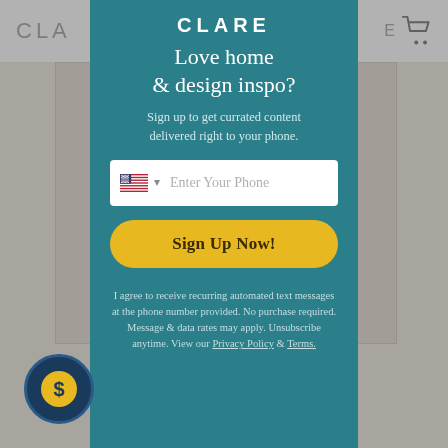CLARE
[Figure (screenshot): Background website page showing CLARE logo partially visible on left, cart icon on right, and product image area with 'MO' text visible]
CLARE
Love home & design inspo?
Sign up to get currated content delivered right to your phone.
Enter Your Phone
Sign Up Now!
I agree to receive recurring automated text messages at the phone number provided. No purchase required. Message & data rates may apply. Unsubscribe anytime. View our Privacy Policy & Terms.